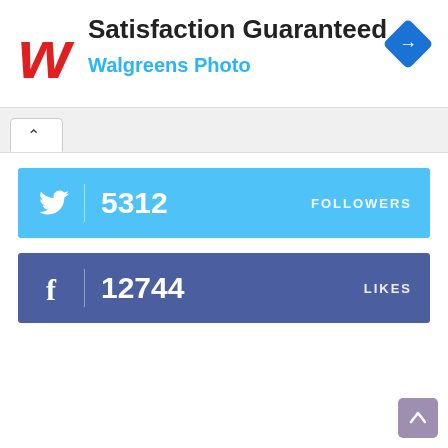[Figure (screenshot): Walgreens Photo advertisement banner with red cursive W logo, 'Satisfaction Guaranteed' title text, 'Walgreens Photo' subtitle in blue, and a blue diamond navigation icon on the right]
[Figure (infographic): Twitter follower count bar: light blue bar showing Twitter bird icon, count 5312, label FOLLOWERS]
[Figure (infographic): Facebook likes bar: dark blue bar showing Facebook f icon, count 12744, label LIKES]
[Figure (other): Purple scroll-to-top button with upward arrow in bottom right corner]